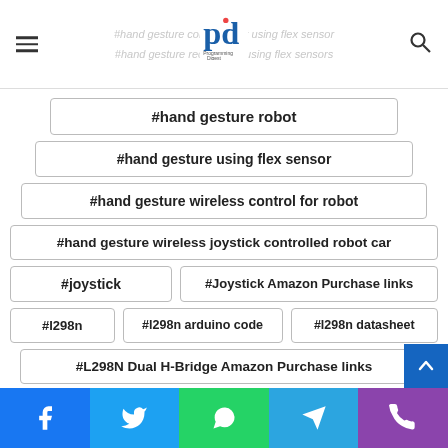#hand gesture control robot using flex sensor | #hand gesture recognition using flex sensors
#hand gesture robot
#hand gesture using flex sensor
#hand gesture wireless control for robot
#hand gesture wireless joystick controlled robot car
#joystick
#Joystick Amazon Purchase links
#l298n
#l298n arduino code
#l298n datasheet
#L298N Dual H-Bridge Amazon Purchase links
Facebook | Twitter | WhatsApp | Telegram | Phone